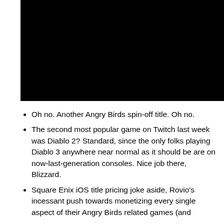[Figure (photo): Black rectangular image area, likely a video thumbnail or screenshot with dark/black content.]
Oh no. Another Angry Birds spin-off title. Oh no.
The second most popular game on Twitch last week was Diablo 2? Standard, since the only folks playing Diablo 3 anywhere near normal as it should be are on now-last-generation consoles. Nice job there, Blizzard.
Square Enix iOS title pricing joke aside, Rovio's incessant push towards monetizing every single aspect of their Angry Birds related games (and